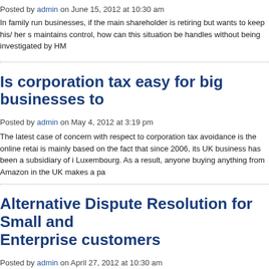Posted by admin on June 15, 2012 at 10:30 am
In family run businesses, if the main shareholder is retiring but wants to keep his/ her s maintains control, how can this situation be handles without being investigated by HM
Is corporation tax easy for big businesses to
Posted by admin on May 4, 2012 at 3:19 pm
The latest case of concern with respect to corporation tax avoidance is the online retai is mainly based on the fact that since 2006, its UK business has been a subsidiary of i Luxembourg. As a result, anyone buying anything from Amazon in the UK makes a pa
Alternative Dispute Resolution for Small and Enterprise customers
Posted by admin on April 27, 2012 at 10:30 am
HM Revenue & Customs (HMRC) is running an Alternative Dispute Resolution (ADR) and Medium Enterprise (SME) customers with an alternative way of resolving tax disp
Tax Relief for Buying Equipment for your Bu
Posted by admin on January 31, 2012 at 6:41 pm
Strict rules apply in order to limit tax deductions that employees and directors can clai The rationale behind tax deductions is that they must be incurred as part of doing the j such as loan interest. Therefore you need to make sure as to what are the [...]